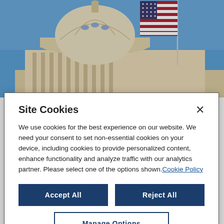[Figure (photo): Photo of the United States Capitol building dome with an American flag waving in the foreground against a blue sky.]
ARPA to the Rescue: COBRA Subsidies, DCAP Relief and More!
Site Cookies
We use cookies for the best experience on our website. We need your consent to set non-essential cookies on your device, including cookies to provide personalized content, enhance functionality and analyze traffic with our analytics partner. Please select one of the options shown. Cookie Policy
Accept All
Reject All
Manage Options